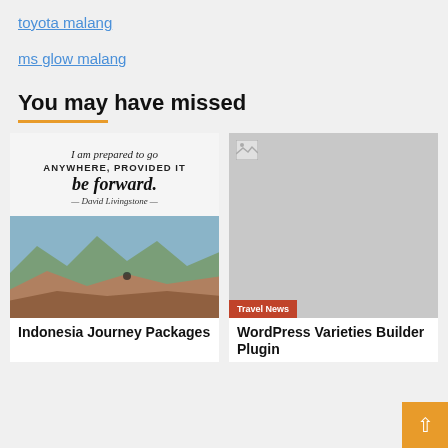toyota malang
ms glow malang
You may have missed
[Figure (photo): Travel inspirational image with quote 'I am prepared to go ANYWHERE, PROVIDED IT be forward. — David Livingstone —' overlaid on mountain landscape, with Travel News badge and IPTKETWORK.COM watermark]
[Figure (photo): Broken/missing image placeholder with gray background and Travel News badge]
Indonesia Journey Packages
WordPress Varieties Builder Plugin